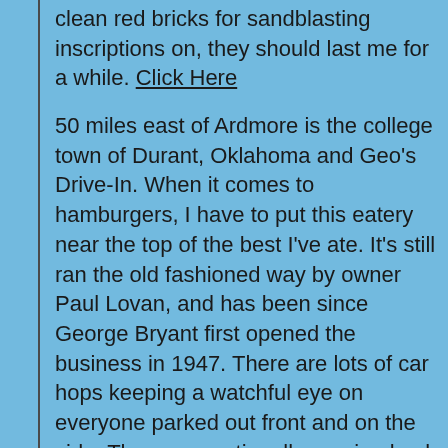clean red bricks for sandblasting inscriptions on, they should last me for a while. Click Here

50 miles east of Ardmore is the college town of Durant, Oklahoma and Geo's Drive-In. When it comes to hamburgers, I have to put this eatery near the top of the best I've ate. It's still ran the old fashioned way by owner Paul Lovan, and has been since George Bryant first opened the business in 1947. There are lots of car hops keeping a watchful eye on everyone parked out front and on the side. They are continually running back and forth waiting on the customers hand and foot. They even bring a salt shaker to you on the tray. Below is a pic of that great tasting $2.39 cent hamburger!. If your near